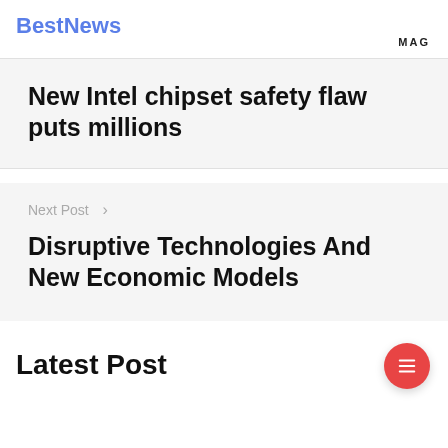BestNews MAG
New Intel chipset safety flaw puts millions
Next Post >
Disruptive Technologies And New Economic Models
Latest Post